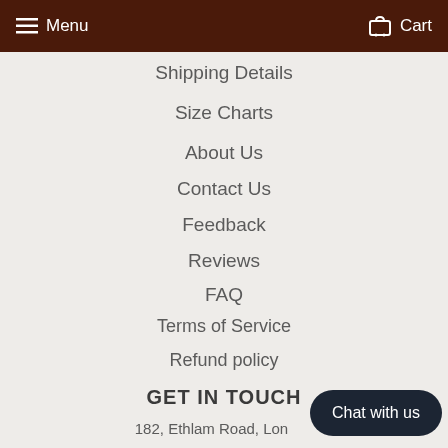Menu   Cart
Shipping Details
Size Charts
About Us
Contact Us
Feedback
Reviews
FAQ
Terms of Service
Refund policy
GET IN TOUCH
182, Ethlam Road, Lon…
SE9 5LN
support@majesticleather.co.uk